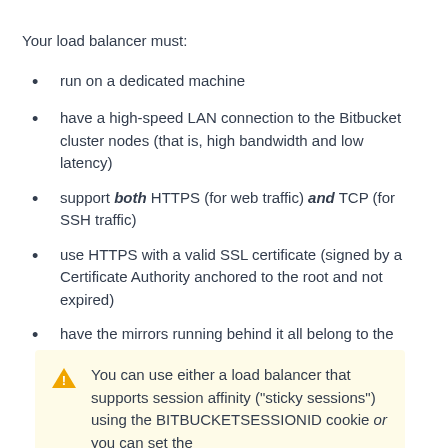Your load balancer must:
run on a dedicated machine
have a high-speed LAN connection to the Bitbucket cluster nodes (that is, high bandwidth and low latency)
support both HTTPS (for web traffic) and TCP (for SSH traffic)
use HTTPS with a valid SSL certificate (signed by a Certificate Authority anchored to the root and not expired)
have the mirrors running behind it all belong to the same mirror farm
You can use either a load balancer that supports session affinity ("sticky sessions") using the BITBUCKETSESSIONID cookie or you can set the